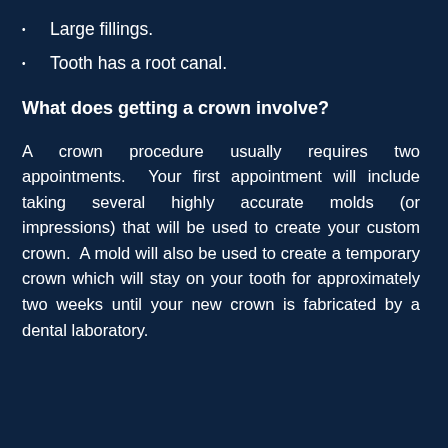Large fillings.
Tooth has a root canal.
What does getting a crown involve?
A crown procedure usually requires two appointments. Your first appointment will include taking several highly accurate molds (or impressions) that will be used to create your custom crown. A mold will also be used to create a temporary crown which will stay on your tooth for approximately two weeks until your new crown is fabricated by a dental laboratory.